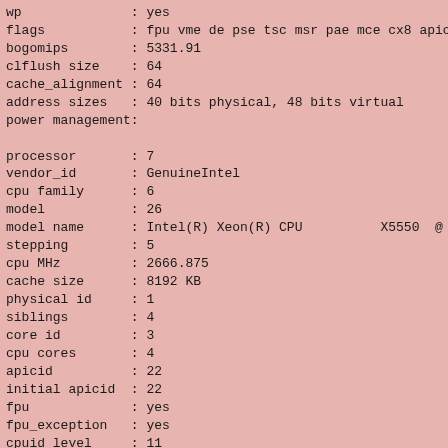wp              : yes
flags           : fpu vme de pse tsc msr pae mce cx8 apic mtr
bogomips        : 5331.91
clflush size    : 64
cache_alignment : 64
address sizes   : 40 bits physical, 48 bits virtual
power management:

processor       : 7
vendor_id       : GenuineIntel
cpu family      : 6
model           : 26
model name      : Intel(R) Xeon(R) CPU          X5550  @ 2.6
stepping        : 5
cpu MHz         : 2666.875
cache size      : 8192 KB
physical id     : 1
siblings        : 4
core id         : 3
cpu cores       : 4
apicid          : 22
initial apicid  : 22
fpu             : yes
fpu_exception   : yes
cpuid level     : 11
wp              : yes
flags           : fpu vme de pse tsc msr pae mce cx8 apic mtr
bogomips        : 5228.98
clflush size    : 64
cache_alignment : 64
address sizes   : 40 bits physical, 48 bits virtual
power management: